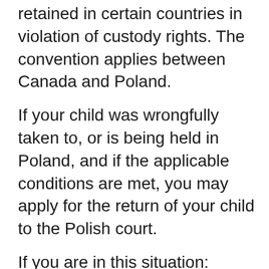retained in certain countries in violation of custody rights. The convention applies between Canada and Poland.
If your child was wrongfully taken to, or is being held in Poland, and if the applicable conditions are met, you may apply for the return of your child to the Polish court.
If you are in this situation:
act as quickly as you can
contact the Central Authority for your province or territory of residence for information on